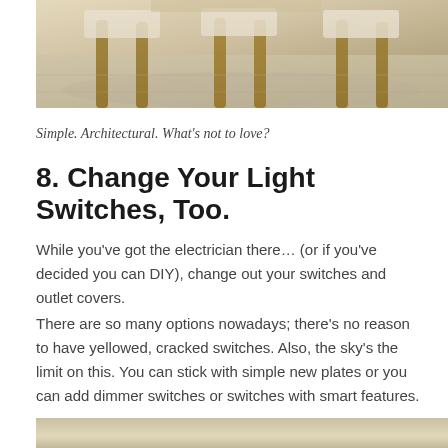[Figure (photo): Photo of dining chairs with wooden legs on a patterned rug, cropped from above]
Simple. Architectural. What's not to love?
8. Change Your Light Switches, Too.
While you've got the electrician there… (or if you've decided you can DIY), change out your switches and outlet covers.
There are so many options nowadays; there's no reason to have yellowed, cracked switches. Also, the sky's the limit on this. You can stick with simple new plates or you can add dimmer switches or switches with smart features.
[Figure (photo): Partial photo of light wood surface or cabinet, cropped at the bottom of the page]